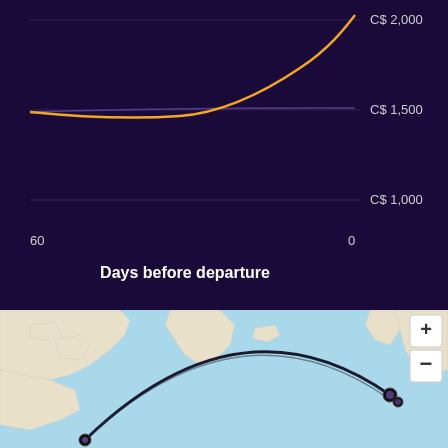[Figure (continuous-plot): Line chart showing price (C$) vs days before departure (60 to 0). An orange line starts around C$1,500 at 60 days before departure and curves upward steeply to above C$2,000 near 0 days. A thin purple/blue line runs roughly flat near C$1,500. Y-axis labels: C$ 2,000, C$ 1,500, C$ 1,000. X-axis: 60 (left) to 0 (right). Background is dark navy.]
[Figure (map): World map (Leaflet-style) showing a great-circle arc route connecting two cities (likely Montreal/Toronto on the left and a European city on the right, possibly Helsinki/Stockholm). The arc is drawn in dark/black over the North Atlantic. There are dot markers at each endpoint with purple circles. A zoom control (+/-) appears in the top-right corner of the map.]